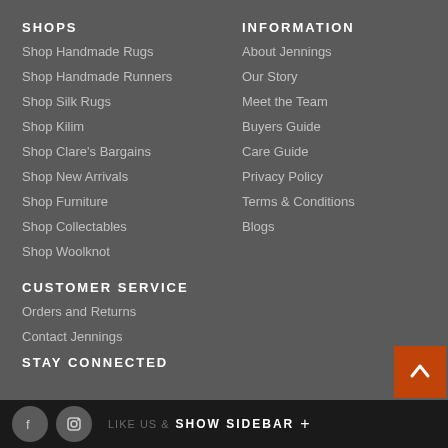SHOPS
Shop Handmade Rugs
Shop Handmade Runners
Shop Silk Rugs
Shop Kilim
Shop Clare's Bargains
Shop New Arrivals
Shop Furniture
Shop Collectables
Shop Woolknot
INFORMATION
About Jennings
Our Story
Meet the Team
Buyers Guide
Care Guide
Privacy Policy
Terms & Conditions
Blogs
CUSTOMER SERVICE
Orders and Returns
Contact Jennings
STAY CONNECTED
LIKE US  SHOW SIDEBAR +